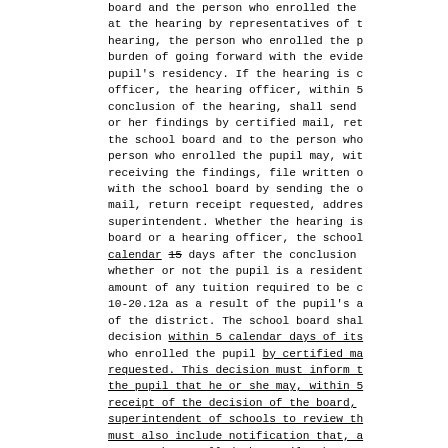board and the person who enrolled the at the hearing by representatives of t hearing, the person who enrolled the p burden of going forward with the evide pupil's residency. If the hearing is c officer, the hearing officer, within 5 conclusion of the hearing, shall send or her findings by certified mail, ret the school board and to the person who person who enrolled the pupil may, wit receiving the findings, file written o with the school board by sending the o mail, return receipt requested, addres superintendent. Whether the hearing is board or a hearing officer, the school calendar 15 days after the conclusion whether or not the pupil is a resident amount of any tuition required to be c 10-20.12a as a result of the pupil's a of the district. The school board shal decision within 5 calendar days of its who enrolled the pupil by certified ma requested. This decision must inform t the pupil that he or she may, within 5 receipt of the decision of the board, superintendent of schools to review th must also include notification that, a person who enrolled the pupil, the pup the schools of the district pending th of schools' review of the board's deci